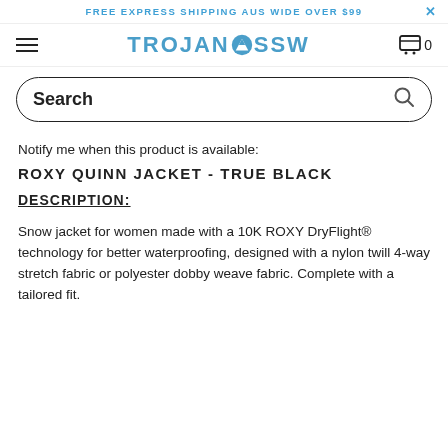FREE EXPRESS SHIPPING AUS WIDE OVER $99
[Figure (logo): TROJAN SSW logo with mountain icon]
Search
Notify me when this product is available:
ROXY QUINN JACKET - TRUE BLACK
DESCRIPTION:
Snow jacket for women made with a 10K ROXY DryFlight® technology for better waterproofing, designed with a nylon twill 4-way stretch fabric or polyester dobby weave fabric. Complete with a tailored fit.